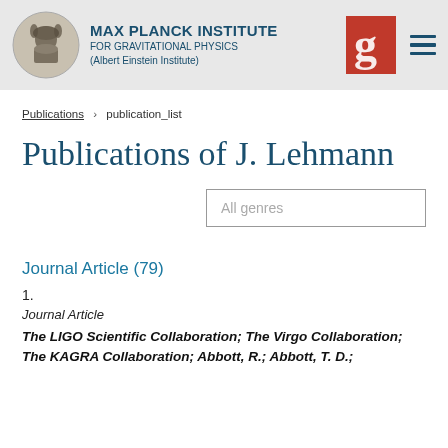MAX PLANCK INSTITUTE FOR GRAVITATIONAL PHYSICS (Albert Einstein Institute)
Publications > publication_list
Publications of J. Lehmann
All genres
Journal Article (79)
1.
Journal Article
The LIGO Scientific Collaboration; The Virgo Collaboration; The KAGRA Collaboration; Abbott, R.; Abbott, T. D.;